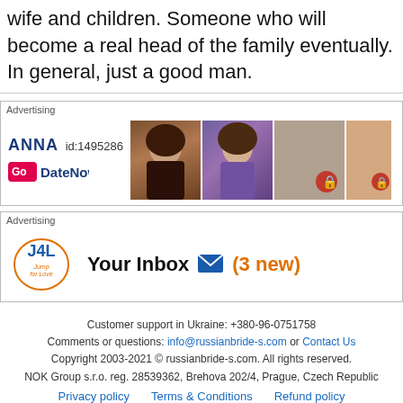wife and children. Someone who will become a real head of the family eventually. In general, just a good man.
[Figure (infographic): Advertisement banner for GoDateNow featuring profile ANNA id:1495286 with photos of a woman with curly hair in various outfits. Some photos are locked with a red lock icon.]
[Figure (infographic): Advertisement banner for Jump4Love (J4L) showing 'Your Inbox (3 new)' with envelope icon in orange and blue colors.]
Customer support in Ukraine: +380-96-0751758
Comments or questions: info@russianbride-s.com or Contact Us
Copyright 2003-2021 © russianbride-s.com. All rights reserved.
NOK Group s.r.o. reg. 28539362, Brehova 202/4, Prague, Czech Republic
Privacy policy   Terms & Conditions   Refund policy